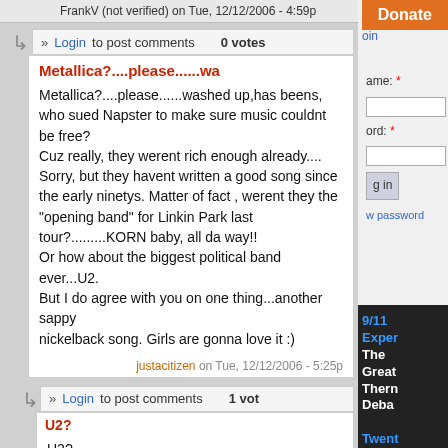FrankV (not verified) on Tue, 12/12/2006 - 4:59p
Login to post comments   0 votes
Metallica?....please......wa
Metallica?....please......washed up,has beens, who sued Napster to make sure music couldnt be free?
Cuz really, they werent rich enough already....
Sorry, but they havent written a good song since the early ninetys. Matter of fact , werent they the "opening band" for Linkin Park last tour?.........KORN baby, all da way!!
Or how about the biggest political band ever...U2.
But I do agree with you on one thing...another sappy
nickelback song. Girls are gonna love it :)
justacitizen on Tue, 12/12/2006 - 5:25p
Login to post comments   1 vote
U2?
U2?

I'm sorry but they have been bought a long time ago.... bought and paid for.
9/11 Exper The Great Thern Deba
Twent Years